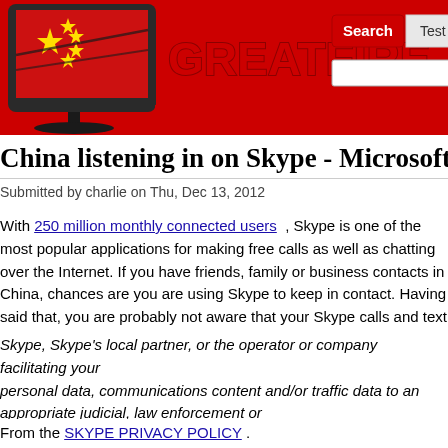[Figure (screenshot): GreatFire.org website header with logo showing Chinese flag on TV monitor, site name in red bold text, Search button and Test URL tab, and search input box]
China listening in on Skype - Microsoft assum
Submitted by charlie on Thu, Dec 13, 2012
With 250 million monthly connected users , Skype is one of the most popular applications for making free calls as well as chatting over the Internet. If you have friends, family or business contacts in China, chances are you are using Skype to keep in contact. Having said that, you are probably not aware that your Skype calls and text chats can be monitored by the censorship authorities in China, and you are probably not aware that you do not consent to such surveillance. Microsoft, however, assumes your consent, as expressed in their Privacy Policy:
Skype, Skype's local partner, or the operator or company facilitating your communications may provide personal data, communications content and/or traffic data to an appropriate judicial, law enforcement or government authority lawfully requesting such information. Skype will provide reasonable assistance and information to fulfill this request and you hereby consent to such disclosure
From the SKYPE PRIVACY POLICY .